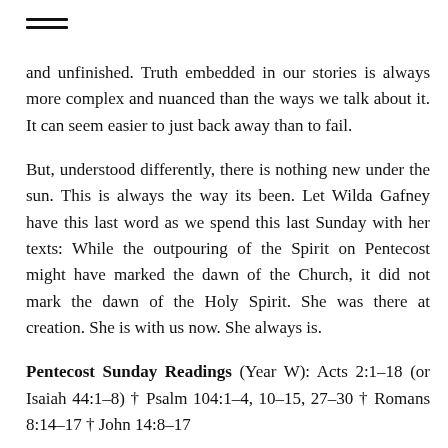≡
and unfinished. Truth embedded in our stories is always more complex and nuanced than the ways we talk about it. It can seem easier to just back away than to fail.
But, understood differently, there is nothing new under the sun. This is always the way its been. Let Wilda Gafney have this last word as we spend this last Sunday with her texts: While the outpouring of the Spirit on Pentecost might have marked the dawn of the Church, it did not mark the dawn of the Holy Spirit. She was there at creation. She is with us now. She always is.
Pentecost Sunday Readings (Year W): Acts 2:1–18 (or Isaiah 44:1–8) † Psalm 104:1–4, 10–15, 27–30 † Romans 8:14–17 † John 14:8–17